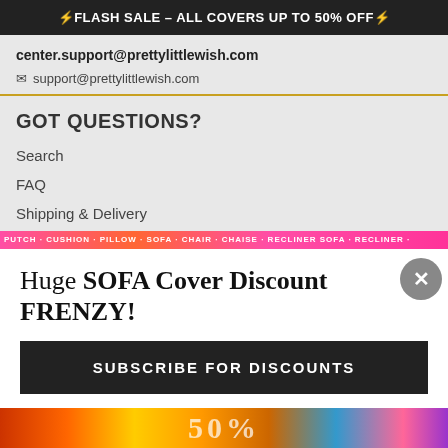⚡FLASH SALE – ALL COVERS UP TO 50% OFF⚡
center.support@prettylittlewish.com
✉ support@prettylittlewish.com
GOT QUESTIONS?
Search
FAQ
Shipping & Delivery
Order Status
Privacy Policy
Term and Conditions
Size and Installation Guide
Huge SOFA Cover Discount FRENZY!
SUBSCRIBE FOR DISCOUNTS